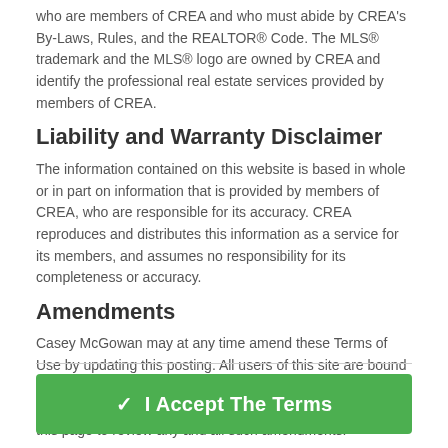who are members of CREA and who must abide by CREA's By-Laws, Rules, and the REALTOR® Code. The MLS® trademark and the MLS® logo are owned by CREA and identify the professional real estate services provided by members of CREA.
Liability and Warranty Disclaimer
The information contained on this website is based in whole or in part on information that is provided by members of CREA, who are responsible for its accuracy. CREA reproduces and distributes this information as a service for its members, and assumes no responsibility for its completeness or accuracy.
Amendments
Casey McGowan may at any time amend these Terms of Use by updating this posting. All users of this site are bound by these amendments should they wish to continue accessing the website, and should therefore periodically visit this page to review any and all such amendments.
✓ I Accept The Terms